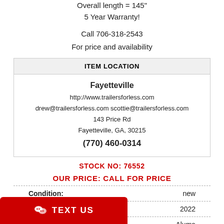Overall length = 145"
5 Year Warranty!
Call 706-318-2543
For price and availability
| ITEM LOCATION |
| --- |
| Fayetteville
http://www.trailersforless.com
drew@trailersforless.com scottie@trailersforless.com
143 Price Rd
Fayetteville, GA, 30215
(770) 460-0314 |
STOCK NO: 76552
OUR PRICE: CALL FOR PRICE
|  |  |
| --- | --- |
| Condition: | new |
| Year: | 2022 |
|  | Aluma |
TEXT US